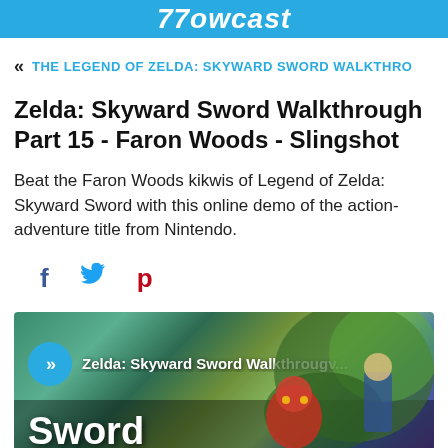77owcast
« THE LEGEND OF ZELDA: SKYWARD SWORD WALKTHRO
Zelda: Skyward Sword Walkthrough Part 15 - Faron Woods - Slingshot
Beat the Faron Woods kikwis of Legend of Zelda: Skyward Sword with this online demo of the action-adventure title from Nintendo.
[Figure (other): Social sharing icons: Facebook (f), Twitter (bird), Pinterest (p)]
[Figure (screenshot): Video thumbnail for 'Zelda: Skyward Sword Walkthrougv...' with play button overlay, game artwork showing Skyward Sword characters and logo text]